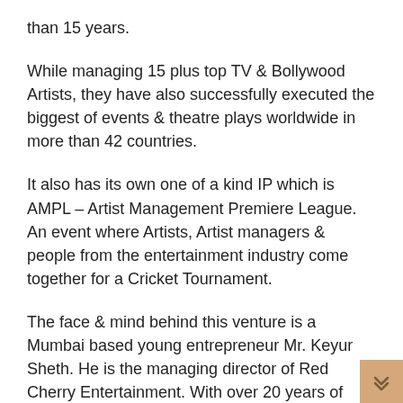than 15 years.
While managing 15 plus top TV & Bollywood Artists, they have also successfully executed the biggest of events & theatre plays worldwide in more than 42 countries.
It also has its own one of a kind IP which is AMPL – Artist Management Premiere League. An event where Artists, Artist managers & people from the entertainment industry come together for a Cricket Tournament.
The face & mind behind this venture is a Mumbai based young entrepreneur Mr. Keyur Sheth. He is the managing director of Red Cherry Entertainment. With over 20 years of experience in the field of event and talent management, he has created a trustworthy and reputable name for himself.